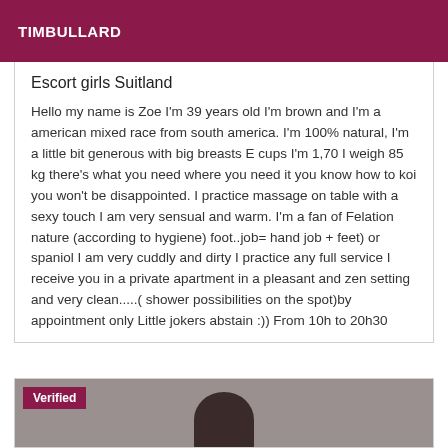TIMBULLARD
Escort girls Suitland
Hello my name is Zoe I'm 39 years old I'm brown and I'm a american mixed race from south america. I'm 100% natural, I'm a little bit generous with big breasts E cups I'm 1,70 I weigh 85 kg there's what you need where you need it you know how to koi you won't be disappointed. I practice massage on table with a sexy touch I am very sensual and warm. I'm a fan of Felation nature (according to hygiene) foot..job= hand job + feet) or spaniol I am very cuddly and dirty I practice any full service I receive you in a private apartment in a pleasant and zen setting and very clean.....( shower possibilities on the spot)by appointment only Little jokers abstain :)) From 10h to 20h30
[Figure (photo): Partial photo of a person with dark curly hair, with a 'Verified' badge overlay in the top-left corner]